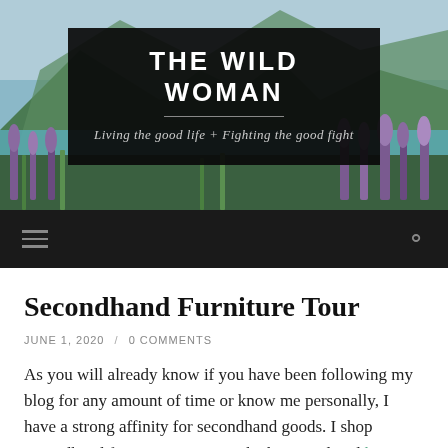[Figure (photo): Scenic landscape banner with mountains, blue lake, and purple lupine wildflowers in the foreground, with a dark semi-transparent overlay showing the blog title and subtitle]
THE WILD WOMAN
Living the good life + Fighting the good fight
[Figure (other): Dark navigation bar with hamburger menu icon on left and search icon on right]
Secondhand Furniture Tour
JUNE 1, 2020 / 0 COMMENTS
As you will already know if you have been following my blog for any amount of time or know me personally, I have a strong affinity for secondhand goods. I shop secondhand for many reasons, which are outlined here.